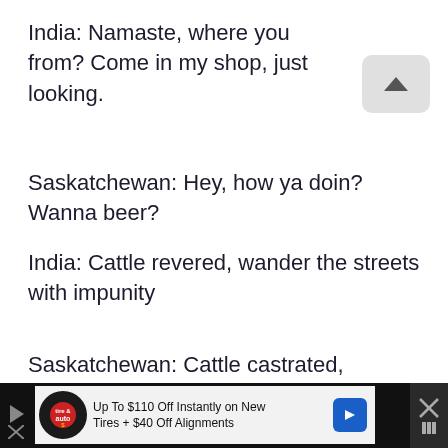India: Namaste, where you from? Come in my shop, just looking.
Saskatchewan: Hey, how ya doin? Wanna beer?
India: Cattle revered, wander the streets with impunity
Saskatchewan: Cattle castrated, slathered with Old Hickory barbeque sauce
[Figure (photo): Street scene photo showing buildings with blue walls and power lines against a blue sky]
Up To $110 Off Instantly on New Tires + $40 Off Alignments